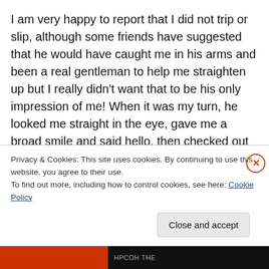I am very happy to report that I did not trip or slip, although some friends have suggested that he would have caught me in his arms and been a real gentleman to help me straighten up but I really didn't want that to be his only impression of me! When it was my turn, he looked me straight in the eye, gave me a broad smile and said hello, then checked out my shirt before we got into our pose. At this point, my brain was filled with the following thoughts: “OHEMGEE HE HAS HIS ARM AROUND ME” and “MY HAND IS ON HIS WAIST” (several people have
Privacy & Cookies: This site uses cookies. By continuing to use this website, you agree to their use.
To find out more, including how to control cookies, see here: Cookie Policy